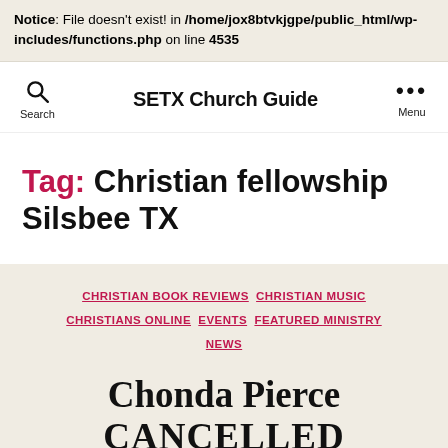Notice: File doesn't exist! in /home/jox8btvkjgpe/public_html/wp-includes/functions.php on line 4535
SETX Church Guide — Search | Menu
Tag: Christian fellowship Silsbee TX
CHRISTIAN BOOK REVIEWS  CHRISTIAN MUSIC  CHRISTIANS ONLINE  EVENTS  FEATURED MINISTRY  NEWS
Chonda Pierce CANCELLED